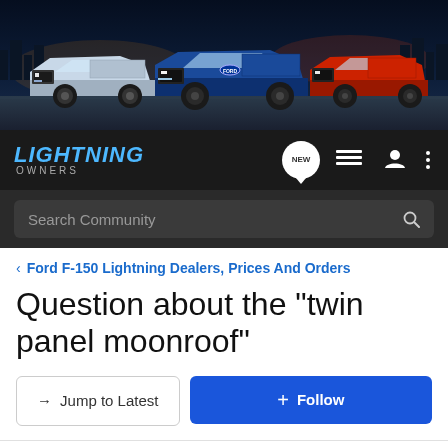[Figure (screenshot): Hero image showing three Ford F-150 Lightning trucks (silver, blue, red) parked in a dramatic night/dusk cityscape setting]
[Figure (logo): Lightning Owners forum logo with cyan italic text on dark background, with navigation icons (NEW chat bubble, list, user, menu)]
[Figure (screenshot): Search Community search bar on dark background]
Ford F-150 Lightning Dealers, Prices And Orders
Question about the "twin panel moonroof"
→ Jump to Latest
+ Follow
Add Your F-150: Reservation Tracker | Delivery